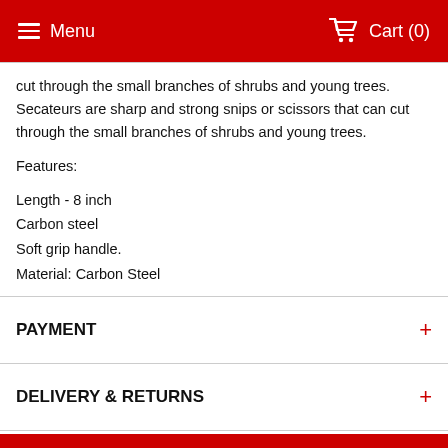Menu  Cart (0)
cut through the small branches of shrubs and young trees. Secateurs are sharp and strong snips or scissors that can cut through the small branches of shrubs and young trees.
Features:
Length - 8 inch
Carbon steel
Soft grip handle.
Material: Carbon Steel
PAYMENT
DELIVERY & RETURNS